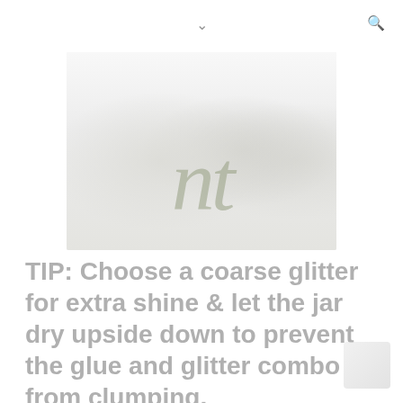navigation chevron and search icon
[Figure (photo): A light, washed-out photo of several white cosmetic jars and containers arranged together, very pale and overexposed. Over the photo is a large italic script watermark reading 'nt' in a muted sage/olive green color.]
TIP: Choose a coarse glitter for extra shine & let the jar dry upside down to prevent the glue and glitter combo from clumping.